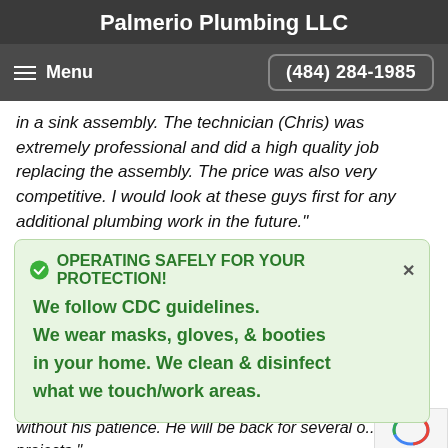Palmerio Plumbing LLC
Menu   (484) 284-1985
in a sink assembly. The technician (Chris) was extremely professional and did a high quality job replacing the assembly. The price was also very competitive. I would look at these guys first for any additional plumbing work in the future."
OPERATING SAFELY FOR YOUR PROTECTION!
We follow CDC guidelines.
We wear masks, gloves, & booties in your home. We clean & disinfect what we touch/work areas.
WORK. I do not believe I could have done my project without his patience. He will be back for several other projects."